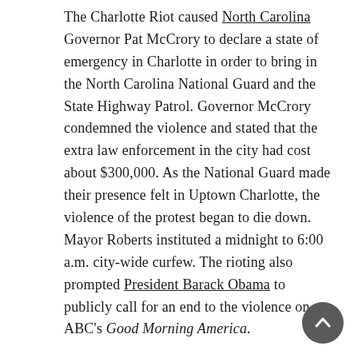The Charlotte Riot caused North Carolina Governor Pat McCrory to declare a state of emergency in Charlotte in order to bring in the North Carolina National Guard and the State Highway Patrol. Governor McCrory condemned the violence and stated that the extra law enforcement in the city had cost about $300,000. As the National Guard made their presence felt in Uptown Charlotte, the violence of the protest began to die down. Mayor Roberts instituted a midnight to 6:00 a.m. city-wide curfew. The rioting also prompted President Barack Obama to publicly call for an end to the violence on ABC's Good Morning America.